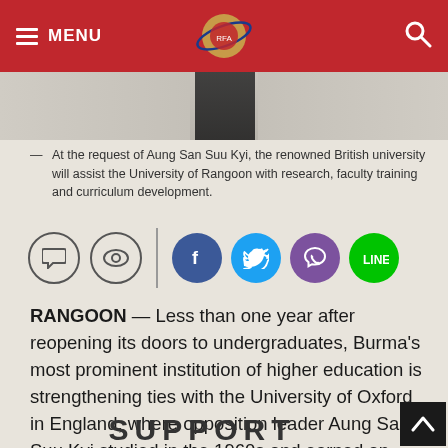MENU [logo] [search]
[Figure (photo): Partial photo strip showing a person in black clothing against a light background]
At the request of Aung San Suu Kyi, the renowned British university will assist — the University of Rangoon with research, faculty training and curriculum development.
[Figure (infographic): Social sharing icons bar: comment bubble, eye/bookmark icons, then Facebook, Twitter, Viber, and Line app icons]
RANGOON — Less than one year after reopening its doors to undergraduates, Burma's most prominent institution of higher education is strengthening ties with the University of Oxford in England, where opposition leader Aung San Suu Kyi studied in the 1960s and earned an honorary degree in 2012.
SUPPORT